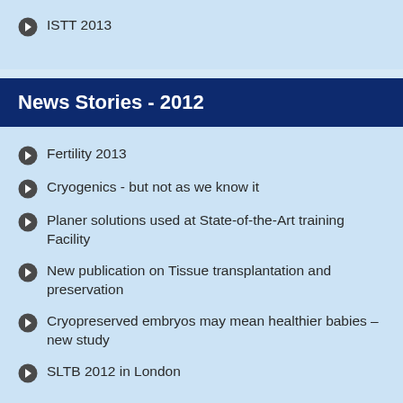ISTT 2013
News Stories - 2012
Fertility 2013
Cryogenics - but not as we know it
Planer solutions used at State-of-the-Art training Facility
New publication on Tissue transplantation and preservation
Cryopreserved embryos may mean healthier babies – new study
SLTB 2012 in London